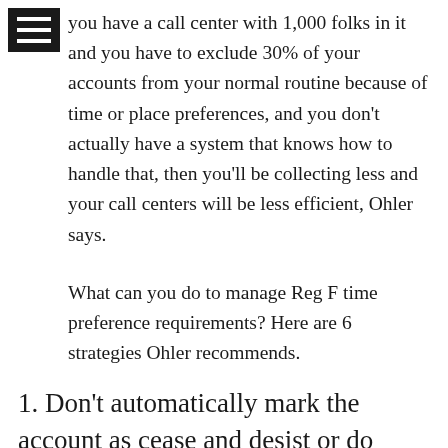you have a call center with 1,000 folks in it and you have to exclude 30% of your accounts from your normal routine because of time or place preferences, and you don't actually have a system that knows how to handle that, then you'll be collecting less and your call centers will be less efficient, Ohler says.
What can you do to manage Reg F time preference requirements? Here are 6 strategies Ohler recommends.
1. Don't automatically mark the account as cease and desist or do